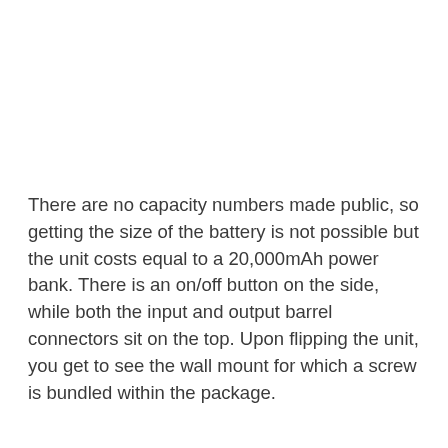There are no capacity numbers made public, so getting the size of the battery is not possible but the unit costs equal to a 20,000mAh power bank. There is an on/off button on the side, while both the input and output barrel connectors sit on the top. Upon flipping the unit, you get to see the wall mount for which a screw is bundled within the package.